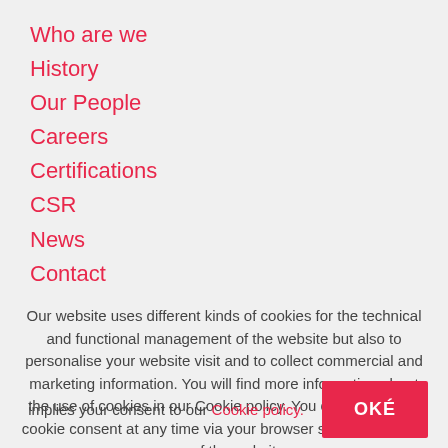Who are we
History
Our People
Careers
Certifications
CSR
News
Contact
Our website uses different kinds of cookies for the technical and functional management of the website but also to personalise your website visit and to collect commercial and marketing information. You will find more information about the use of cookies in our Cookie policy. You can adapt your cookie consent at any time via your browser settings. Further use of the website implies your consent to our Cookie policy.